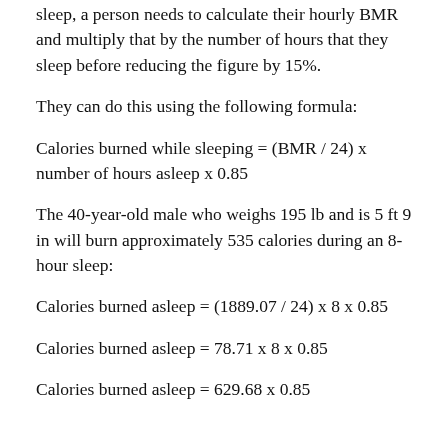sleep, a person needs to calculate their hourly BMR and multiply that by the number of hours that they sleep before reducing the figure by 15%.
They can do this using the following formula:
The 40-year-old male who weighs 195 lb and is 5 ft 9 in will burn approximately 535 calories during an 8-hour sleep: